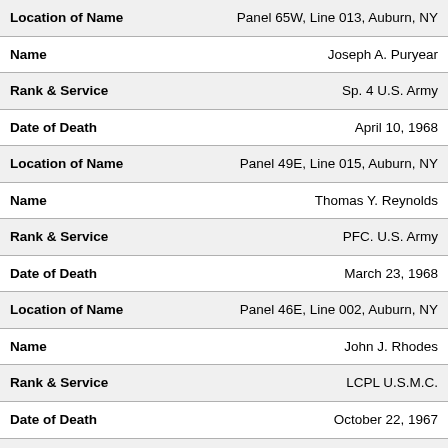| Field | Value |
| --- | --- |
| Location of Name | Panel 65W, Line 013, Auburn, NY |
| Name | Joseph A. Puryear |
| Rank & Service | Sp. 4 U.S. Army |
| Date of Death | April 10, 1968 |
| Location of Name | Panel 49E, Line 015, Auburn, NY |
| Name | Thomas Y. Reynolds |
| Rank & Service | PFC. U.S. Army |
| Date of Death | March 23, 1968 |
| Location of Name | Panel 46E, Line 002, Auburn, NY |
| Name | John J. Rhodes |
| Rank & Service | LCPL U.S.M.C. |
| Date of Death | October 22, 1967 |
| Location of Name | Panel 28E, Line 051, Auburn, NY |
| Name | Brian P. Russell |